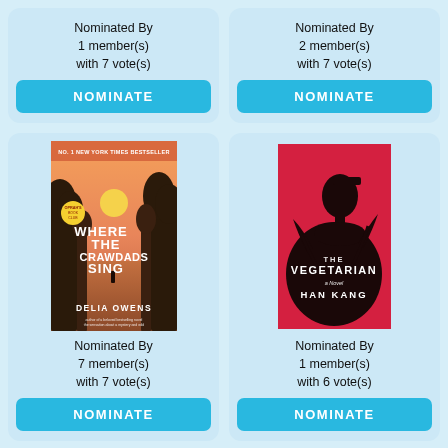Nominated By
1 member(s)
with 7 vote(s)
NOMINATE
Nominated By
2 member(s)
with 7 vote(s)
NOMINATE
[Figure (photo): Book cover of 'Where The Crawdads Sing' by Delia Owens – orange sunset over wetlands with silhouetted trees, Oprah's Book Club badge, No. 1 New York Times Bestseller banner]
Nominated By
7 member(s)
with 7 vote(s)
NOMINATE
[Figure (photo): Book cover of 'The Vegetarian' by Han Kang – red background with silhouette of a woman's profile and dark plant forms]
Nominated By
1 member(s)
with 6 vote(s)
NOMINATE